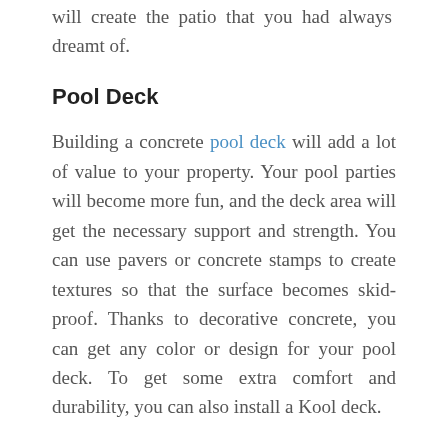will create the patio that you had always dreamt of.
Pool Deck
Building a concrete pool deck will add a lot of value to your property. Your pool parties will become more fun, and the deck area will get the necessary support and strength. You can use pavers or concrete stamps to create textures so that the surface becomes skid-proof. Thanks to decorative concrete, you can get any color or design for your pool deck. To get some extra comfort and durability, you can also install a Kool deck.